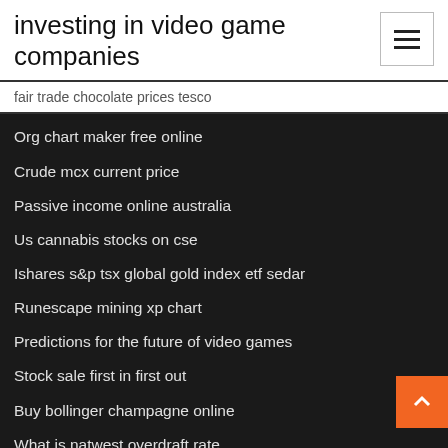investing in video game companies
fair trade chocolate prices tesco
Org chart maker free online
Crude mcx current price
Passive income online australia
Us cannabis stocks on cse
Ishares s&p tsx global gold index etf sedar
Runescape mining xp chart
Predictions for the future of video games
Stock sale first in first out
Buy bollinger champagne online
What is natwest overdraft rate